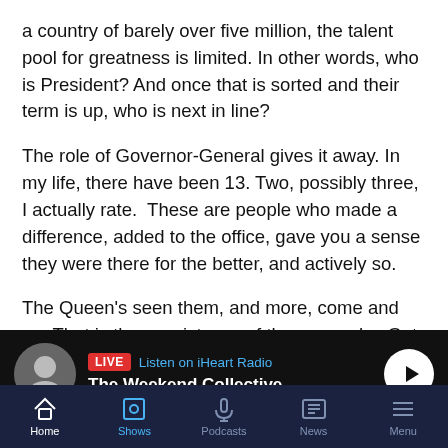a country of barely over five million, the talent pool for greatness is limited. In other words, who is President? And once that is sorted and their term is up, who is next in line?
The role of Governor-General gives it away. In my life, there have been 13. Two, possibly three, I actually rate.  These are people who made a difference, added to the office, gave you a sense they were there for the better, and actively so.
The Queen's seen them, and more, come and go. That is the consistency of the monarchy. Get a good one, and you are set. The crap shoot element of change is sorted.
Say whatever you like about the monarchy. But in terms of doing the job, of rising to the occasion of delivering on what
[Figure (screenshot): Live radio player bar showing iHeart Radio live stream for 'The Weekend Collective' with host avatar, LIVE badge, and play button]
Home | Shows | Podcasts | News | Menu